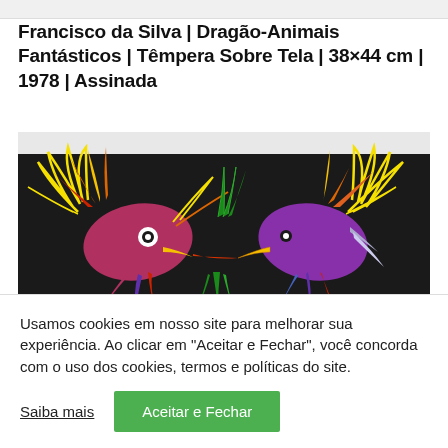Francisco da Silva | Dragão-Animais Fantásticos | Têmpera Sobre Tela | 38×44 cm | 1978 | Assinada
[Figure (photo): Colorful folk art painting on black background showing two fantastical bird-like creatures with vivid feathers facing each other, painted by Francisco da Silva.]
Usamos cookies em nosso site para melhorar sua experiência. Ao clicar em "Aceitar e Fechar", você concorda com o uso dos cookies, termos e políticas do site.
Saiba mais   Aceitar e Fechar